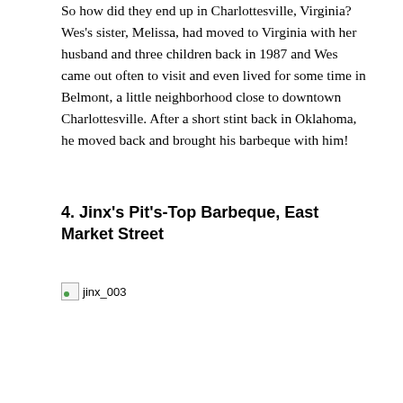So how did they end up in Charlottesville, Virginia? Wes's sister, Melissa, had moved to Virginia with her husband and three children back in 1987 and Wes came out often to visit and even lived for some time in Belmont, a little neighborhood close to downtown Charlottesville. After a short stint back in Oklahoma, he moved back and brought his barbeque with him!
4. Jinx's Pit's-Top Barbeque, East Market Street
[Figure (photo): Broken image placeholder labeled jinx_003]